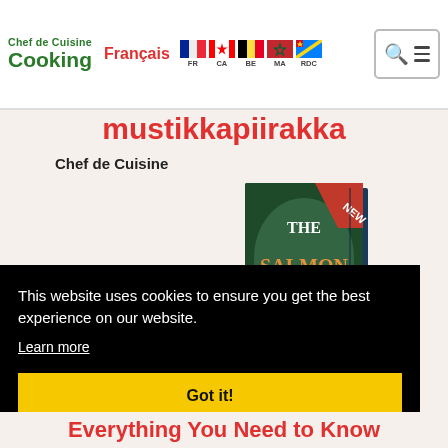Chef de Cuisine Cooking — Français — FR CA BE MA RDC
mustikkapiirakka
Chef de Cuisine
[Figure (photo): Book cover: THE SALMON COOKBOOK with a NEW banner]
This website uses cookies to ensure you get the best experience on our website. Learn more Got it!
Everything You Need to Know